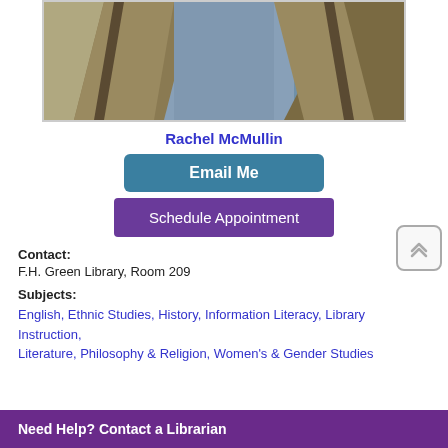[Figure (photo): Partial photo of person wearing a tan/khaki blazer over a blue shirt, visible from chest down]
Rachel McMullin
Email Me
Schedule Appointment
Contact:
F.H. Green Library, Room 209
Subjects:
English, Ethnic Studies, History, Information Literacy, Library Instruction, Literature, Philosophy & Religion, Women's & Gender Studies
Need Help? Contact a Librarian